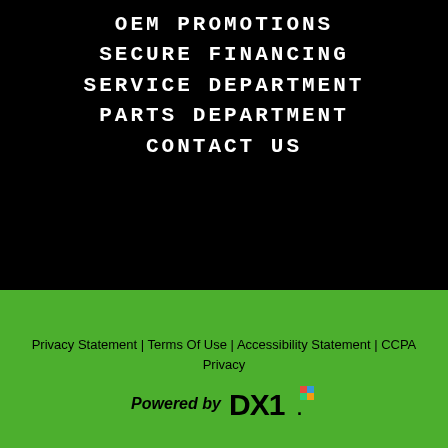OEM PROMOTIONS
SECURE FINANCING
SERVICE DEPARTMENT
PARTS DEPARTMENT
CONTACT US
Privacy Statement | Terms Of Use | Accessibility Statement | CCPA Privacy
[Figure (logo): DX1 logo with colored icon, Powered by DX1 text]
[Figure (logo): Star Powersports & Marine logo with large stylized STAR text in white/gray outline and green star graphic, POWERSPORTS & MARINE subtitle]